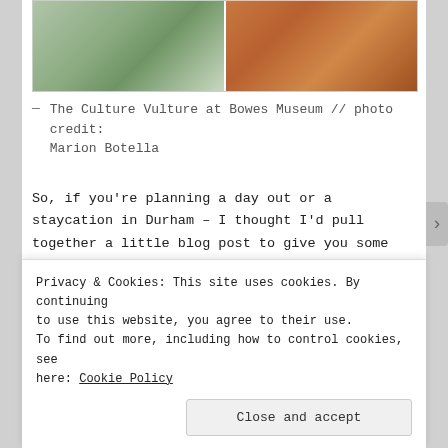[Figure (photo): Two photos side by side at top: left shows a green/outdoor scene, right shows an orange/red patterned fabric or garment]
— The Culture Vulture at Bowes Museum // photo credit: Marion Botella
So, if you're planning a day out or a staycation in Durham – I thought I'd pull together a little blog post to give you some inspiration and Culture Vulture suggestions of how I'd spend 24hrs in Durham.
[Figure (photo): Two photos side by side at bottom: left shows an interior gallery/room with colorful floral display, right shows framed artwork on white walls]
Privacy & Cookies: This site uses cookies. By continuing to use this website, you agree to their use. To find out more, including how to control cookies, see here: Cookie Policy
Close and accept